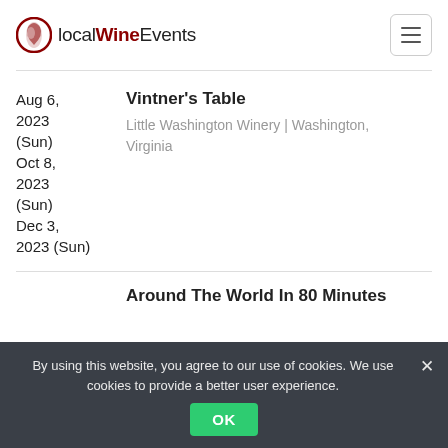localWineEvents
Aug 6, 2023 (Sun)
Oct 8, 2023 (Sun)
Dec 3, 2023 (Sun)
Vintner's Table
Little Washington Winery | Washington, Virginia
Around The World In 80 Minutes
By using this website, you agree to our use of cookies. We use cookies to provide a better user experience.